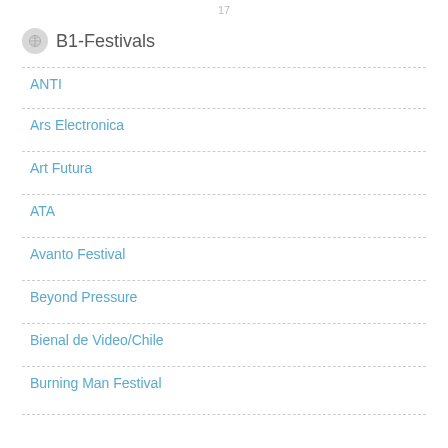17
B1-Festivals
ANTI
Ars Electronica
Art Futura
ATA
Avanto Festival
Beyond Pressure
Bienal de Video/Chile
Burning Man Festival